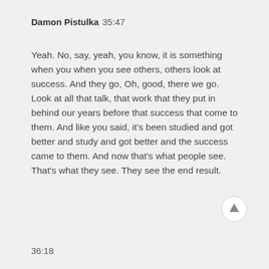Damon Pistulka  35:47
Yeah. No, say, yeah, you know, it is something when you when you see others, others look at success. And they go, Oh, good, there we go. Look at all that talk, that work that they put in behind our years before that success that come to them. And like you said, it's been studied and got better and study and got better and the success came to them. And now that's what people see. That's what they see. They see the end result.
36:18